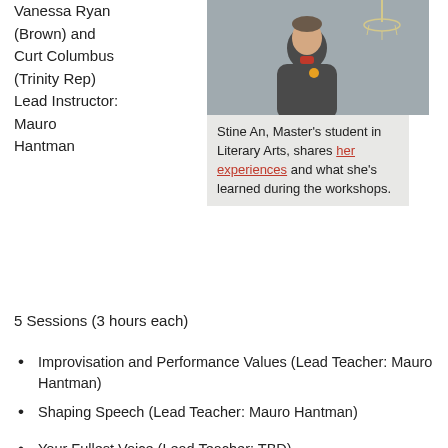Vanessa Ryan (Brown) and Curt Columbus (Trinity Rep) Lead Instructor: Mauro Hantman
[Figure (photo): Portrait photo of a man wearing a dark sweater with a red collar, standing in a room with a chandelier visible in the background.]
Stine An, Master's student in Literary Arts, shares her experiences and what she's learned during the workshops.
5 Sessions (3 hours each)
Improvisation and Performance Values (Lead Teacher: Mauro Hantman)
Shaping Speech (Lead Teacher: Mauro Hantman)
Your Fullest Voice (Lead Teacher: TBD)
Dropping into the Body (Lead Teacher: TBD)
Putting it All Together: Performance (Lead Teacher: Mauro Hantman)
Selection
A committee of Trinity Rep and Graduate School representatives will help select a diverse and cross-disciplinary cohort of graduate students who can benefit from the workshop.